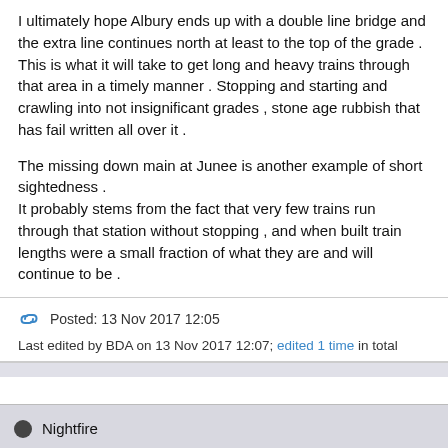I ultimately hope Albury ends up with a double line bridge and the extra line continues north at least to the top of the grade .
This is what it will take to get long and heavy trains through that area in a timely manner . Stopping and starting and crawling into not insignificant grades , stone age rubbish that has fail written all over it .

The missing down main at Junee is another example of short sightedness .
It probably stems from the fact that very few trains run through that station without stopping , and when built train lengths were a small fraction of what they are and will continue to be .
Posted: 13 Nov 2017 12:05
Last edited by BDA on 13 Nov 2017 12:07; edited 1 time in total
Nightfire